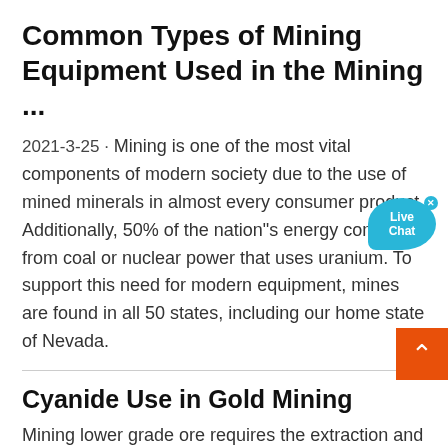Common Types of Mining Equipment Used in the Mining ...
2021-3-25 · Mining is one of the most vital components of modern society due to the use of mined minerals in almost every consumer product. Additionally, 50% of the nation"s energy comes from coal or nuclear power that uses uranium. To support this need for modern equipment, mines are found in all 50 states, including our home state of Nevada.
Cyanide Use in Gold Mining
Mining lower grade ore requires the extraction and processing of much more ore to get the same amount of gold. Partially due to cyanide, modern mines are. much larger and this trend is expected to continue.